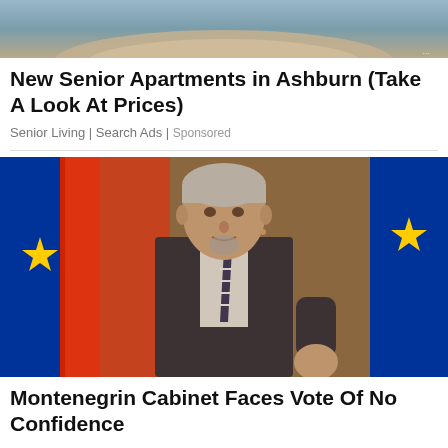[Figure (photo): Top portion of an advertisement image showing a landscape or outdoor scene, partially cropped]
New Senior Apartments in Ashburn (Take A Look At Prices)
Senior Living | Search Ads | Sponsored
[Figure (photo): A silver-haired man in a dark suit and striped tie speaking at a podium or event, with a red flag and EU blue flag with yellow stars visible in the background]
Montenegrin Cabinet Faces Vote Of No Confidence